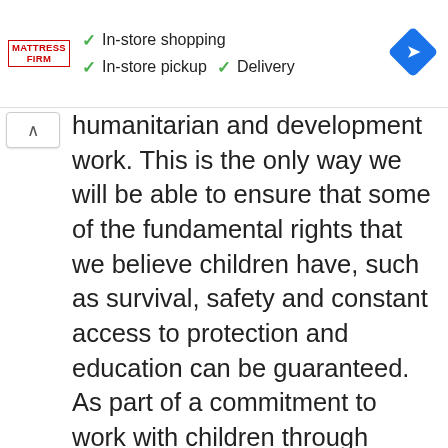[Figure (infographic): Mattress Firm advertisement banner showing logo, checkmarks for In-store shopping, In-store pickup, Delivery, and a blue navigation/directions icon]
humanitarian and development work. This is the only way we will be able to ensure that some of the fundamental rights that we believe children have, such as survival, safety and constant access to protection and education can be guaranteed. As part of a commitment to work with children through humanitarian interventions, Save the Children will support programmes in both sudden onset and chronic emergencies.